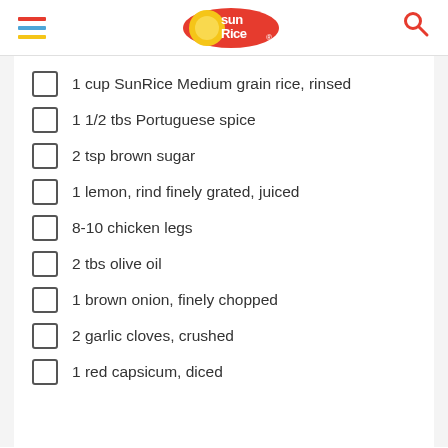SunRice [logo]
1 cup SunRice Medium grain rice, rinsed
1 1/2 tbs Portuguese spice
2 tsp brown sugar
1 lemon, rind finely grated, juiced
8-10 chicken legs
2 tbs olive oil
1 brown onion, finely chopped
2 garlic cloves, crushed
1 red capsicum, diced